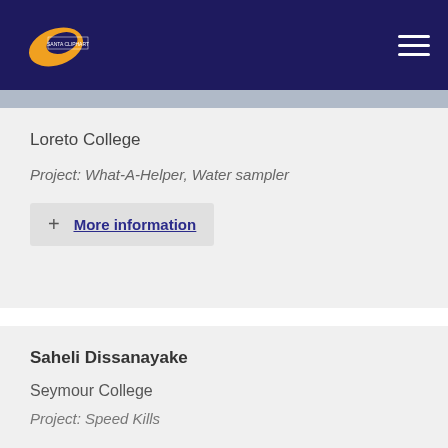Loreto College
Project: What-A-Helper, Water sampler
+ More information
Saheli Dissanayake
Seymour College
Project: Speed Kills